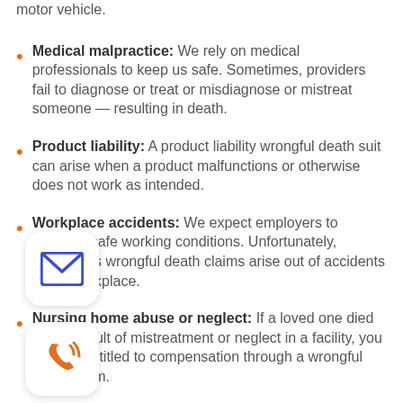motor vehicle.
Medical malpractice: We rely on medical professionals to keep us safe. Sometimes, providers fail to diagnose or treat or misdiagnose or mistreat someone — resulting in death.
Product liability: A product liability wrongful death suit can arise when a product malfunctions or otherwise does not work as intended.
Workplace accidents: We expect employers to maintain safe working conditions. Unfortunately, sometimes wrongful death claims arise out of accidents in the workplace.
Nursing home abuse or neglect: If a loved one died as the result of mistreatment or neglect in a facility, you may be entitled to compensation through a wrongful death claim.
"Slip and fall" or other premises liability accidents: